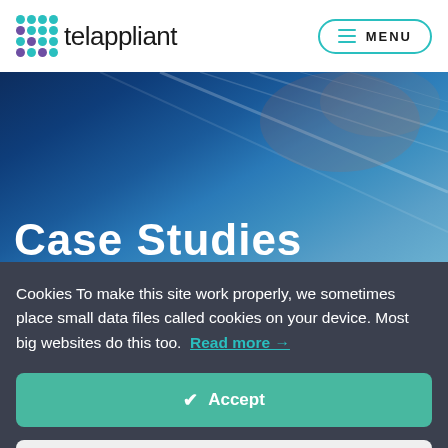telappliant — MENU
[Figure (screenshot): Hero banner with blue abstract background showing diagonal light streaks and the heading 'Case Studies' in white bold text at the bottom left]
Cookies To make this site work properly, we sometimes place small data files called cookies on your device. Most big websites do this too. Read more →
✔ Accept
Change Settings ⚙